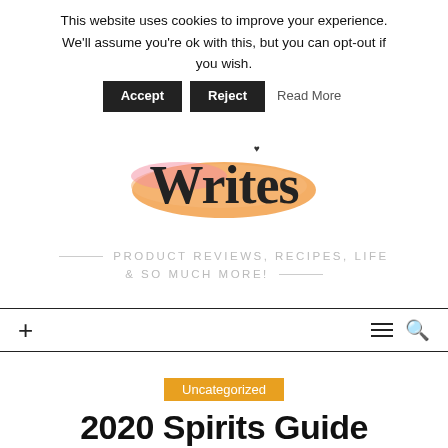This website uses cookies to improve your experience. We'll assume you're ok with this, but you can opt-out if you wish.
Accept | Reject | Read More
[Figure (logo): Blog logo with stylized 'Writes' text on a pink/orange brushstroke background with a small heart above the letter i]
PRODUCT REVIEWS, RECIPES, LIFE & SO MUCH MORE!
Uncategorized
2020 Spirits Guide